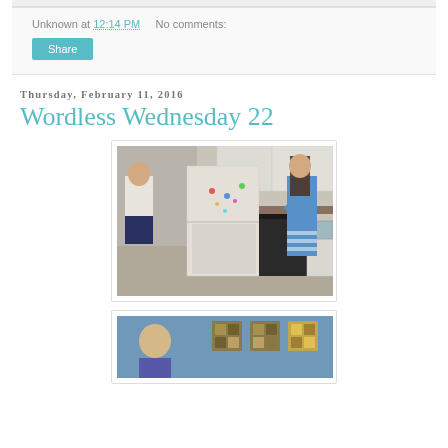Unknown at 12:14 PM   No comments:
Share
Thursday, February 11, 2016
Wordless Wednesday 22
[Figure (photo): Kitchen scene with two people, a white refrigerator with magnets, black stove, white cabinets, and a woman with long hair in a striped blue outfit near the sink]
[Figure (photo): Partial view of a child and decorative wall art on a blue wall]